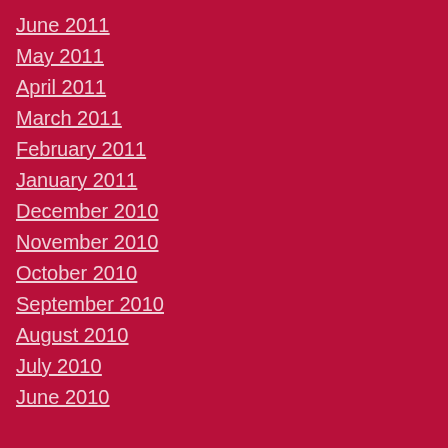June 2011
May 2011
April 2011
March 2011
February 2011
January 2011
December 2010
November 2010
October 2010
September 2010
August 2010
July 2010
June 2010